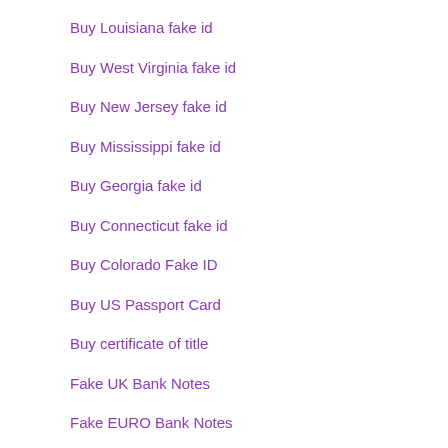Buy Louisiana fake id
Buy West Virginia fake id
Buy New Jersey fake id
Buy Mississippi fake id
Buy Georgia fake id
Buy Connecticut fake id
Buy Colorado Fake ID
Buy US Passport Card
Buy certificate of title
Fake UK Bank Notes
Fake EURO Bank Notes
Buy USD Bank Notes
Netherlands Fake Driver License